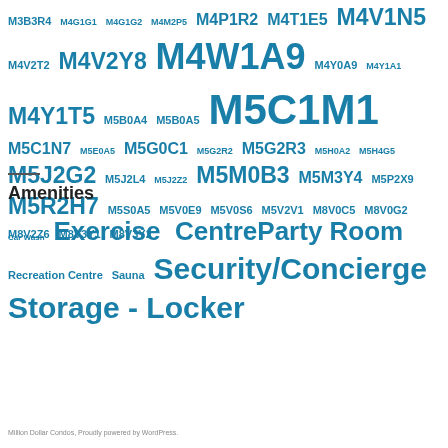M3B3R4 M4G1G1 M4G1G2 M4M2P5 M4P1R2 M4T1E5 M4V1N5 M4V2T2 M4V2Y8 M4W1A9 M4Y0A9 M4Y1A1 M4Y1T5 M5B0A4 M5B0A5 M5C1M1 M5C1N7 M5E0A5 M5G0C1 M5G2R2 M5G2R3 M5H0A2 M5H4G5 M5J2G2 M5J2L4 M5J2Z2 M5M0B3 M5M3Y4 M5P2X9 M5R2H7 M5S0A5 M5V0E9 M5V0S6 M5V2V1 M8V0C5 M8V0G2 M8V2Z6 M8V3Y1 M8V3Y2
Amenities
Car Wash Exercise Centre Party Room Recreation Centre Sauna Security/Concierge Storage - Locker
Million Dollar Condos, Proudly powered by WordPress.